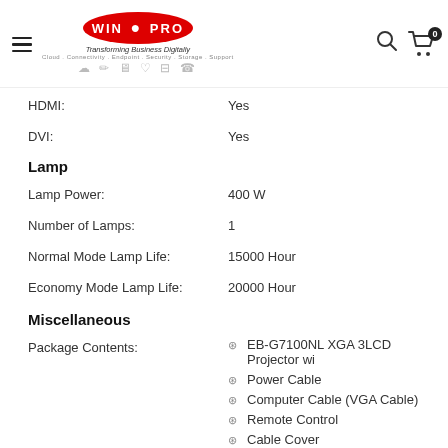WIN PRO — Transforming Business Digitally
HDMI: Yes
DVI: Yes
Lamp
Lamp Power: 400 W
Number of Lamps: 1
Normal Mode Lamp Life: 15000 Hour
Economy Mode Lamp Life: 20000 Hour
Miscellaneous
Package Contents:
EB-G7100NL XGA 3LCD Projector wi
Power Cable
Computer Cable (VGA Cable)
Remote Control
Cable Cover
User's Manual CD-ROM